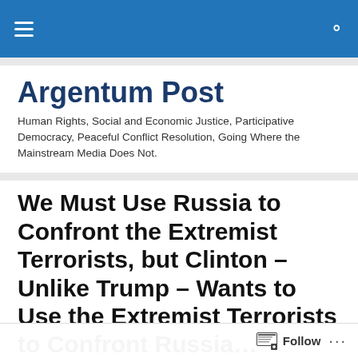Argentum Post — navigation bar with hamburger menu and search icon
Argentum Post
Human Rights, Social and Economic Justice, Participative Democracy, Peaceful Conflict Resolution, Going Where the Mainstream Media Does Not.
We Must Use Russia to Confront the Extremist Terrorists, but Clinton – Unlike Trump – Wants to Use the Extremist Terrorists to Confront Russia…
Follow